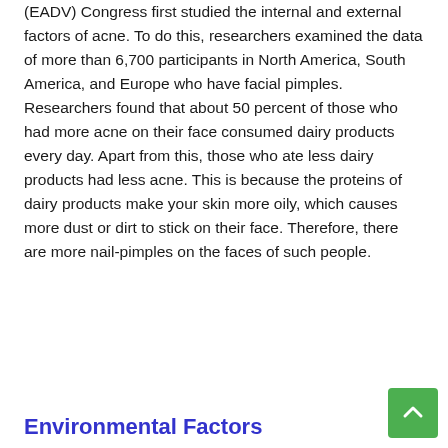(EADV) Congress first studied the internal and external factors of acne. To do this, researchers examined the data of more than 6,700 participants in North America, South America, and Europe who have facial pimples. Researchers found that about 50 percent of those who had more acne on their face consumed dairy products every day. Apart from this, those who ate less dairy products had less acne. This is because the proteins of dairy products make your skin more oily, which causes more dust or dirt to stick on their face. Therefore, there are more nail-pimples on the faces of such people.
Environmental Factors